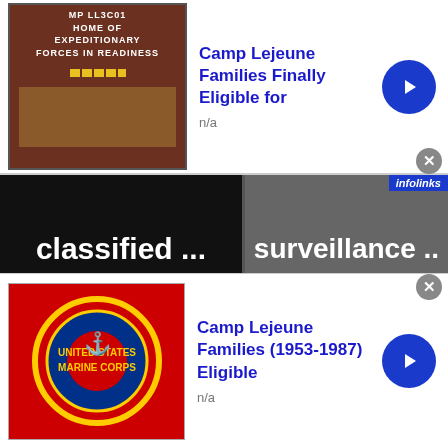[Figure (screenshot): Top advertisement banner: Camp Lejeune Families Finally Eligible for... with thumbnail image of military base sign, blue arrow button, and gray close button]
[Figure (screenshot): Infolinks ad strip showing two dark banner ads: 'classified ...' and 'surveillance ..']
Comments   Community   🔒   1   Login ▾
♡ Favorite  97                    Sort by Best ▾
Join the discussion…
LOG IN WITH
[Figure (screenshot): Social login icons: infolinks label, Facebook, Twitter, Google+]
[Figure (screenshot): Bottom advertisement banner: Camp Lejeune Families (1953-1987) Eligible with US Marine Corps seal thumbnail, blue arrow button, and gray close button]